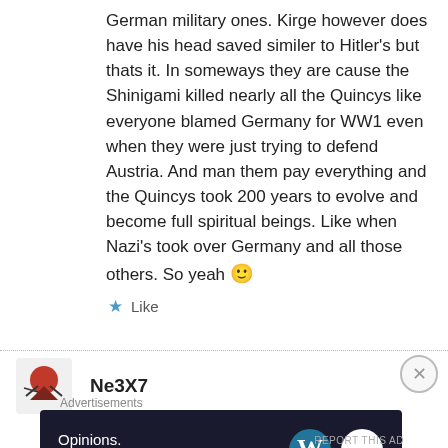German military ones. Kirge however does have his head saved similer to Hitler's but thats it. In someways they are cause the Shinigami killed nearly all the Quincys like everyone blamed Germany for WW1 even when they were just trying to defend Austria. And man them pay everything and the Quincys took 200 years to evolve and become full spiritual beings. Like when Nazi's took over Germany and all those others. So yeah 🙂
Like
Ne3X7
Advertisements
[Figure (screenshot): WordPress advertisement banner: 'Opinions. We all have them!' with WordPress and Daily Post logos on dark navy background]